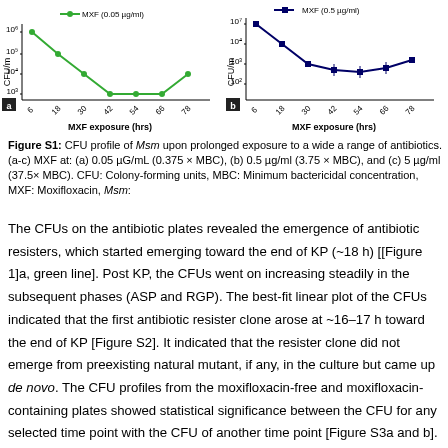[Figure (line-chart): MXF (0.05 µg/ml)]
[Figure (line-chart): MXF (0.5 µg/ml)]
Figure S1: CFU profile of Msm upon prolonged exposure to a wide a range of antibiotics. (a-c) MXF at: (a) 0.05 µg/mL (0.375 × MBC), (b) 0.5 µg/ml (3.75 × MBC), and (c) 5 µg/ml (37.5 × MBC). CFU: Colony-forming units, MBC: Minimum bactericidal concentration, MXF: Moxifloxacin, Msm:
The CFUs on the antibiotic plates revealed the emergence of antibiotic resisters, which started emerging toward the end of KP (~18 h) [[Figure 1]a, green line]. Post KP, the CFUs went on increasing steadily in the subsequent phases (ASP and RGP). The best-fit linear plot of the CFUs indicated that the first antibiotic resister clone arose at ~16–17 h toward the end of KP [Figure S2]. It indicated that the resister clone did not emerge from preexisting natural mutant, if any, in the culture but came up de novo. The CFU profiles from the moxifloxacin-free and moxifloxacin-containing plates showed statistical significance between the CFU for any selected time point with the CFU of another time point [Figure S3a and b]. The ASP's and RGP's CFU profiles showed differences between the moxifloxacin (±) plates. It indicated that these phases might contain different proportions of the cells that could become moxifloxacin-resistant, as reported,[47]